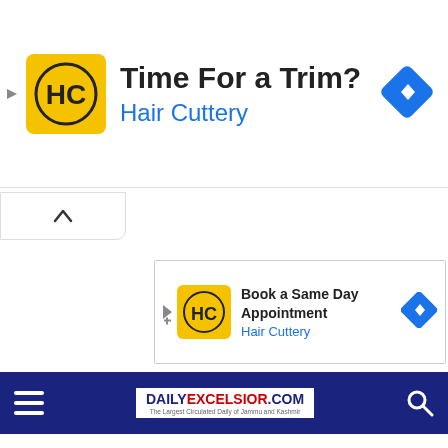[Figure (screenshot): Hair Cuttery advertisement banner with logo showing HC in yellow circle, headline 'Time For a Trim?' and brand name 'Hair Cuttery' in blue, with a blue diamond arrow button on right]
[Figure (screenshot): Collapse/chevron up button bar]
[Figure (screenshot): Second Hair Cuttery ad: 'Book a Same Day Appointment' with Hair Cuttery logo and brand name in blue]
[Figure (screenshot): Daily Excelsior navigation bar with hamburger menu, DAILYEXCELSIOR.COM logo with tagline 'The Largest Circulated Daily of Jammu and Kashmir', and search icon]
[Figure (screenshot): TRENDING NOW red button label and article link 'Terror funding in J&K from South Africa to Surat, Mumbai']